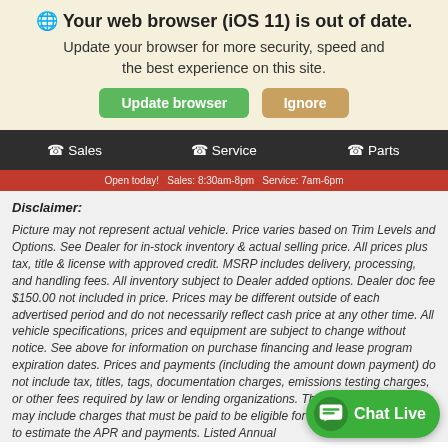Your web browser (iOS 11) is out of date. Update your browser for more security, speed and the best experience on this site.
Sales  Service  Parts
Open today! Sales: 8:30am-8pm  Service: 7am-6pm
Disclaimer:
Picture may not represent actual vehicle. Price varies based on Trim Levels and Options. See Dealer for in-stock inventory & actual selling price. All prices plus tax, title & license with approved credit. MSRP includes delivery, processing, and handling fees. All inventory subject to Dealer added options. Dealer doc fee $150.00 not included in price. Prices may be different outside of each advertised period and do not necessarily reflect cash price at any other time. All vehicle specifications, prices and equipment are subject to change without notice. See above for information on purchase financing and lease program expiration dates. Prices and payments (including the amount down payment) do not include tax, titles, tags, documentation charges, emissions testing charges, or other fees required by law or lending organizations. The estimated payments may include charges that must be paid to be eligible for the purchase program used to estimate the APR and payments. Listed Annual